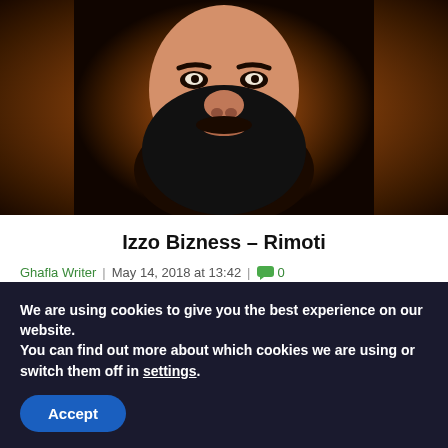[Figure (illustration): Animated/illustrated face with dark beard on brown/orange background]
Izzo Bizness – Rimoti
Ghafla Writer | May 14, 2018 at 13:42 | 💬0
Have a listen to Izzo Bizness's latest hit single tit...
[Figure (photo): Music single cover featuring BOSSU text, with circle icon on left and FEATURING label at top]
We are using cookies to give you the best experience on our website.
You can find out more about which cookies we are using or switch them off in settings.